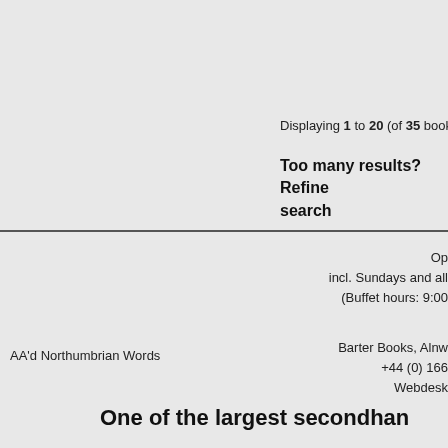Displaying 1 to 20 (of 35 books)
Too many results? Refine search
Op incl. Sundays and all (Buffet hours: 9:00
Barter Books, Alnw +44 (0) 166 Webdesk
AA'd Northumbrian Words
One of the largest secondhan